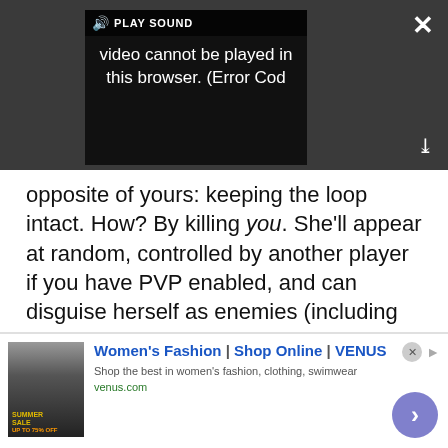[Figure (screenshot): Video player UI showing 'PLAY SOUND' bar with speaker icon and error message: 'Video cannot be played in this browser. (Error Cod'. Close X button top right, expand arrows bottom right.]
opposite of yours: keeping the loop intact. How? By killing you. She'll appear at random, controlled by another player if you have PVP enabled, and can disguise herself as enemies (including Visionaries) to screw with you. This is a wickedly imaginative approach to multiplayer and I can't wait to see more of it in action.
Advertisement
[Figure (screenshot): MacLife advertisement banner with logo and decorative imagery]
[Figure (screenshot): VENUS women's fashion ad: 'Women's Fashion | Shop Online | VENUS', 'Shop the best in women's fashion, clothing, swimwear', 'venus.com', with thumbnail image and arrow button]